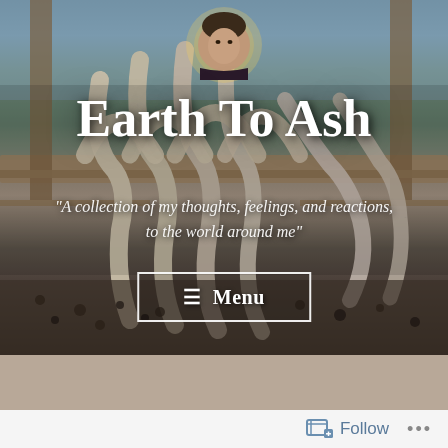[Figure (photo): A blog header image showing a dock scene with thick rope coils draped over wooden pier rails, water and dock structures in the background. A man's face is visible at the top center with a golden halo-like circle behind his head.]
Earth To Ash
"A collection of my thoughts, feelings, and reactions, to the world around me"
☰ Menu
Follow ...